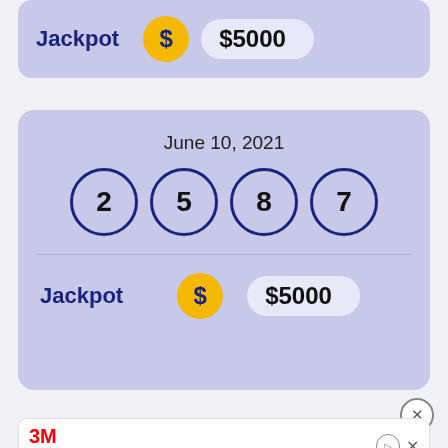[Figure (infographic): Top partial lottery card showing Jackpot label with gold dollar circle and $5000 amount]
[Figure (infographic): Main lottery card for June 10, 2021 with drawn numbers 2, 5, 8, 7 in circles and Jackpot of $5000]
[Figure (screenshot): 3M advertisement banner showing smiley face and text: Offer your patients barely noticeable brackets - 3M Clarity Ceramic Brackets]